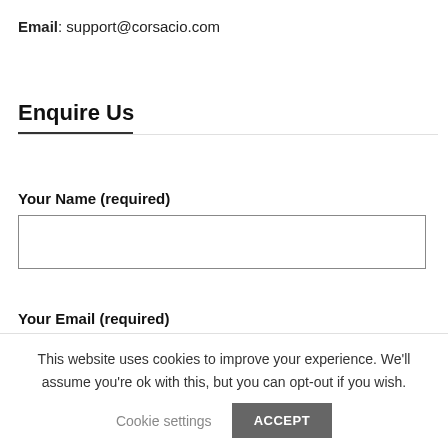Email: support@corsacio.com
Enquire Us
Your Name (required)
Your Email (required)
This website uses cookies to improve your experience. We'll assume you're ok with this, but you can opt-out if you wish.
Cookie settings
ACCEPT